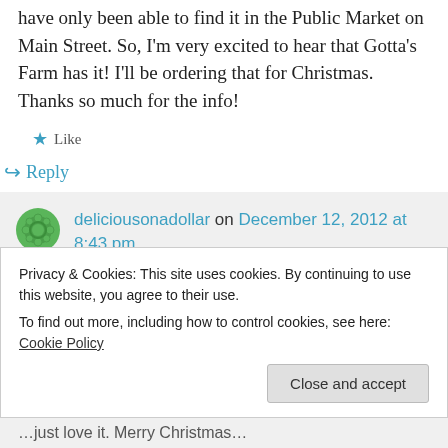have only been able to find it in the Public Market on Main Street. So, I'm very excited to hear that Gotta's Farm has it! I'll be ordering that for Christmas. Thanks so much for the info!
★ Like
↪ Reply
deliciousonadollar on December 12, 2012 at 8:43 pm
Privacy & Cookies: This site uses cookies. By continuing to use this website, you agree to their use.
To find out more, including how to control cookies, see here: Cookie Policy
Close and accept
…just love it. Merry Christmas…